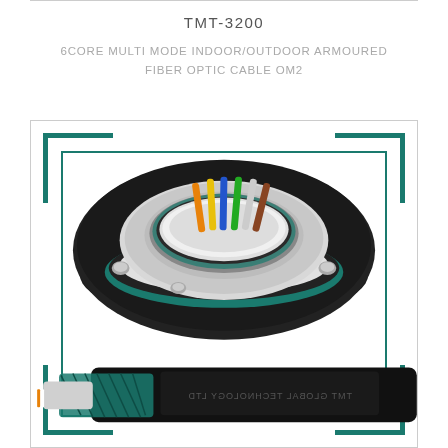TMT-3200
6CORE MULTI MODE INDOOR/OUTDOOR ARMOURED FIBER OPTIC CABLE OM2
[Figure (illustration): 3D cross-section illustration of a 6-core multi-mode armoured fiber optic cable showing the circular cable end face with colored fiber strands (orange, yellow, blue, green, white, brown) inside a white inner tube, surrounded by a teal ring, black outer jacket with silver bolts. Below is a side view of the armoured cable showing the outer black jacket labelled TMT GLOBAL TECHNOLOGY LTD, with visible metallic armoring layer and inner components.]